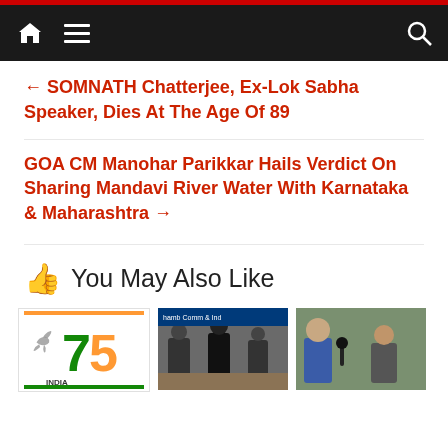Navigation bar with home, menu, and search icons
← SOMNATH Chatterjee, Ex-Lok Sabha Speaker, Dies At The Age Of 89
GOA CM Manohar Parikkar Hails Verdict On Sharing Mandavi River Water With Karnataka & Maharashtra →
👍 You May Also Like
[Figure (photo): India 75th anniversary logo with dove and '75']
[Figure (photo): Panel discussion at a chamber of commerce and industry event]
[Figure (photo): Two men in suits speaking outdoors]